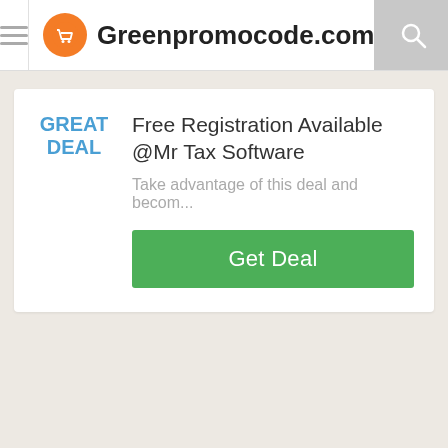Greenpromocode.com
GREAT DEAL
Free Registration Available @Mr Tax Software
Take advantage of this deal and becom...
Get Deal